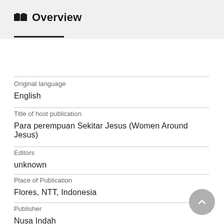Overview
Original language
English
Title of host publication
Para perempuan Sekitar Jesus (Women Around Jesus)
Editors
unknown
Place of Publication
Flores, NTT, Indonesia
Publisher
Nusa Indah